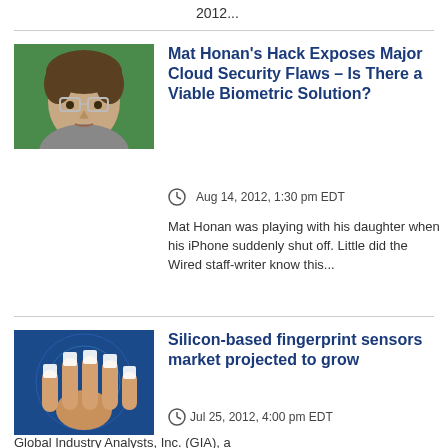2012...
[Figure (photo): Headshot of Mat Honan, a man with curly hair and glasses, against a green background]
Mat Honan's Hack Exposes Major Cloud Security Flaws – Is There a Viable Biometric Solution?
Aug 14, 2012, 1:30 pm EDT
Mat Honan was playing with his daughter when his iPhone suddenly shut off. Little did the Wired staff-writer know this...
[Figure (photo): A hand with fingertips marked by white squares, suggesting fingerprint sensor technology, on a blue background]
Silicon-based fingerprint sensors market projected to grow
Jul 25, 2012, 4:00 pm EDT
Global Industry Analysts, Inc. (GIA), a